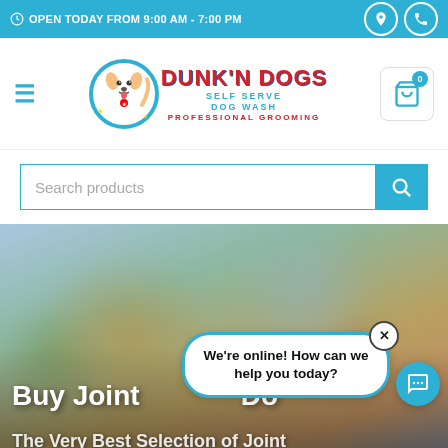OPEN TODAY FROM 9:00 AM - 7:00 PM
[Figure (logo): Dunk N Dogs Self Serve Dog Wash Professional Grooming logo with cartoon dog]
[Figure (screenshot): Search products input bar with teal search button]
[Figure (photo): Blurred outdoor background with dog, trees, and bokeh lights]
Buy Joint
The Very Best Selection of Joint
We're online! How can we help you today?